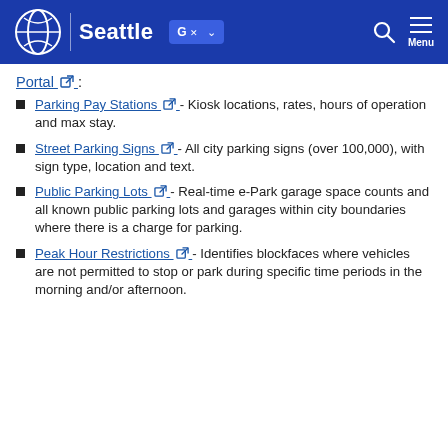Seattle
Portal:
Parking Pay Stations - Kiosk locations, rates, hours of operation and max stay.
Street Parking Signs - All city parking signs (over 100,000), with sign type, location and text.
Public Parking Lots - Real-time e-Park garage space counts and all known public parking lots and garages within city boundaries where there is a charge for parking.
Peak Hour Restrictions - Identifies blockfaces where vehicles are not permitted to stop or park during specific time periods in the morning and/or afternoon.